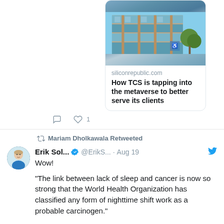[Figure (screenshot): Photo of a multi-story office building with teal/green glass windows and brown brick facade, with trees visible]
siliconrepublic.com
How TCS is tapping into the metaverse to better serve its clients
1
Mariam Dholkawala Retweeted
Erik Sol... @ErikS... · Aug 19
Wow!
“The link between lack of sleep and cancer is now so strong that the World Health Organization has classified any form of nighttime shift work as a probable carcinogen.”